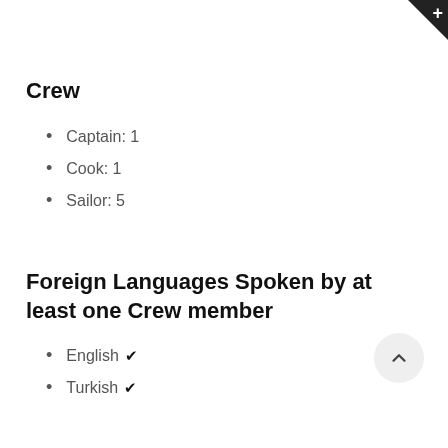Crew
Captain:  1
Cook:  1
Sailor:  5
Foreign Languages Spoken by at least one Crew member
English ✓
Turkish ✓